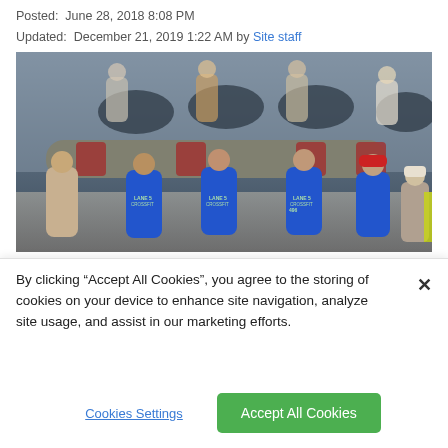Posted:  June 28, 2018 8:08 PM
Updated:  December 21, 2019 1:22 AM by Site staff
[Figure (photo): CrossFit competition photo showing multiple athletes in blue 'Lane 5 CrossFit' shirts carrying a large heavy log/bag together in a gym, with other athletes on rowing machines visible in the background.]
By clicking “Accept All Cookies”, you agree to the storing of cookies on your device to enhance site navigation, analyze site usage, and assist in our marketing efforts.
Cookies Settings
Accept All Cookies